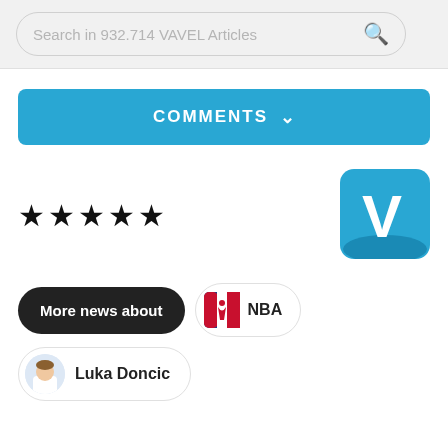Search in 932.714 VAVEL Articles
COMMENTS
★★★★★
[Figure (logo): VAVEL blue logo with white V letter]
More news about
[Figure (logo): NBA logo - red white blue]
NBA
[Figure (photo): Luka Doncic player photo thumbnail]
Luka Doncic